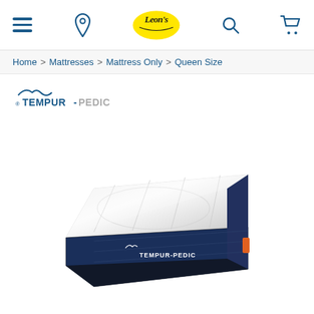Leon's navigation bar with hamburger menu, location pin, Leon's logo, search, and cart icons
Home > Mattresses > Mattress Only > Queen Size
[Figure (logo): Tempur-Pedic brand logo with mountain wave icon]
[Figure (photo): Tempur-Pedic queen size mattress product photo showing white quilted top and navy blue base with Tempur-Pedic branding on the side]